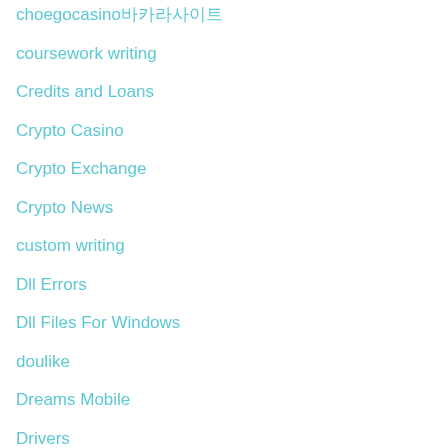choegocasino바카라사이트
coursework writing
Credits and Loans
Crypto Casino
Crypto Exchange
Crypto News
custom writing
Dll Errors
Dll Files For Windows
doulike
Dreams Mobile
Drivers
Ecommerce
edit my paper